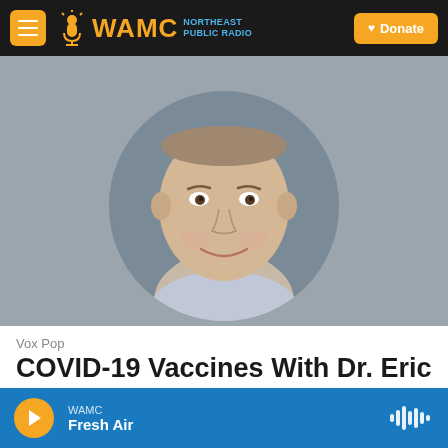WAMC NORTHEAST PUBLIC RADIO — Donate
[Figure (photo): Circular portrait photo of Dr. Eric Yager, a man smiling, wearing a light gray shirt, set against a gray background. The photo is cropped in a circle and displayed on a gray background panel.]
Vox Pop
COVID-19 Vaccines With Dr. Eric Yager 4/6/21
April 6, 2021
Returning to Vox Pop today is virologist Dr. Eric Yager of the Albany College of Pharmacy and
WAMC Fresh Air